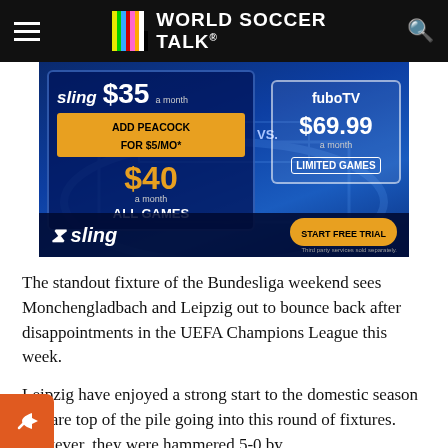WORLD SOCCER TALK
[Figure (infographic): Sling TV vs fuboTV advertisement. Sling: $35/month, add Peacock for $5/mo*, total $40/month ALL GAMES. fuboTV: $69.99 a month LIMITED GAMES. START FREE TRIAL button. Third party services sold separately.]
The standout fixture of the Bundesliga weekend sees Monchengladbach and Leipzig out to bounce back after disappointments in the UEFA Champions League this week.
Leipzig have enjoyed a strong start to the domestic season and are top of the pile going into this round of fixtures. However, they were hammered 5-0 by